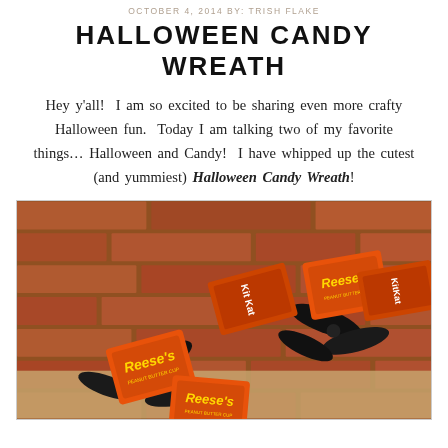OCTOBER 4, 2014 BY: TRISH FLAKE
HALLOWEEN CANDY WREATH
Hey y'all!  I am so excited to be sharing even more crafty Halloween fun.  Today I am talking two of my favorite things… Halloween and Candy!  I have whipped up the cutest (and yummiest) Halloween Candy Wreath!
[Figure (photo): A Halloween candy wreath showing Reese's Peanut Butter Cups and Kit Kat candy bars in orange wrappers arranged with black ribbon bows on a brick background.]